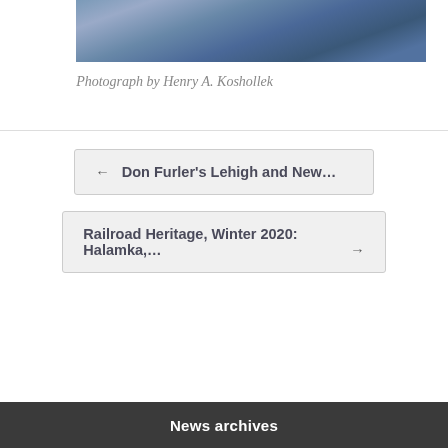[Figure (photo): Partial photograph showing a person in blue clothing, cropped at top of page]
Photograph by Henry A. Koshollek
← Don Furler's Lehigh and New…
Railroad Heritage, Winter 2020: Halamka,… →
News archives